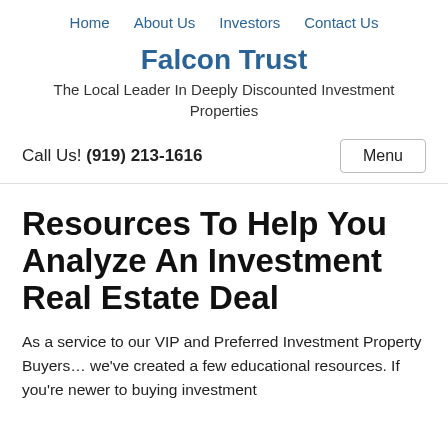Home   About Us   Investors   Contact Us
Falcon Trust
The Local Leader In Deeply Discounted Investment Properties
Call Us! (919) 213-1616
Resources To Help You Analyze An Investment Real Estate Deal
As a service to our VIP and Preferred Investment Property Buyers… we've created a few educational resources.  If you're newer to buying investment